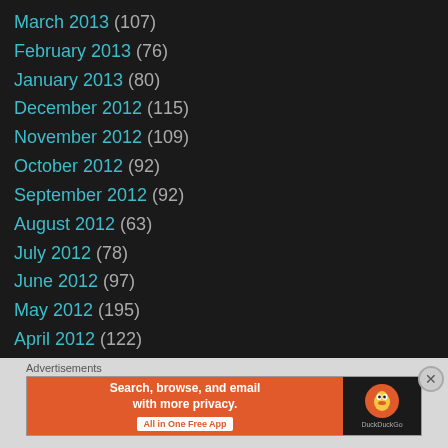March 2013 (107)
February 2013 (76)
January 2013 (80)
December 2012 (115)
November 2012 (109)
October 2012 (92)
September 2012 (92)
August 2012 (63)
July 2012 (78)
June 2012 (97)
May 2012 (195)
April 2012 (122)
March 2012 (38)
February 2012 (30)
January 2012 (32)
[Figure (screenshot): DuckDuckGo advertisement banner: orange background with text 'Search, browse, and email with more privacy. All in One Free App' on the left, and DuckDuckGo logo on black background on the right.]